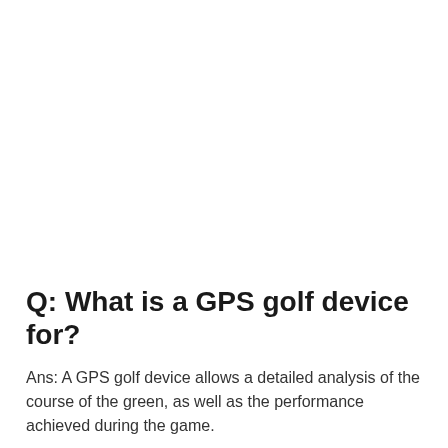Q: What is a GPS golf device for?
Ans: A GPS golf device allows a detailed analysis of the course of the green, as well as the performance achieved during the game.